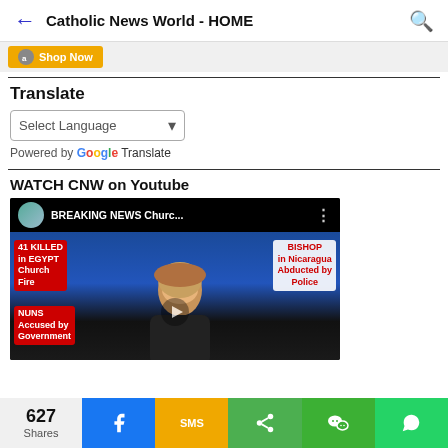Catholic News World - HOME
[Figure (screenshot): Amazon Shop Now advertisement button with yellow background]
Translate
Select Language
Powered by Google Translate
WATCH CNW on Youtube
[Figure (screenshot): YouTube video thumbnail showing breaking news: BREAKING NEWS Churc... with headlines: 41 KILLED in EGYPT Church Fire, BISHOP in Nicaragua Abducted by Police, NUNS Accused by Government]
627 Shares